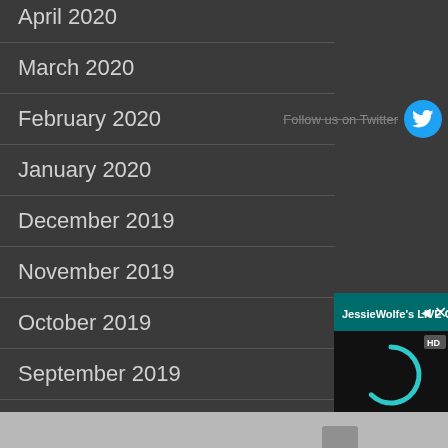April 2020
March 2020
February 2020
January 2020
December 2019
November 2019
October 2019
September 2019
August 2019
July 2019
[Figure (screenshot): JessieWolfe's LIVE CHAT widget with a teal header bar showing speaker and close (X) icons, a black video area with HD badge and a teal loading spinner, and a chat input bar reading 'Chat with me LIVE now!' with a teal Send button]
Follow us on Twitter